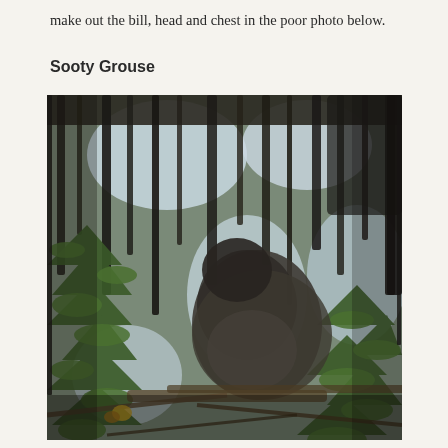make out the bill, head and chest in the poor photo below.
Sooty Grouse
[Figure (photo): A poor-quality photograph of a Sooty Grouse partially hidden among pine tree branches draped with hanging moss. The bird is dark/gray-brown colored and blends in with the dense conifer foliage. Sky is visible in the background through gaps in the branches.]